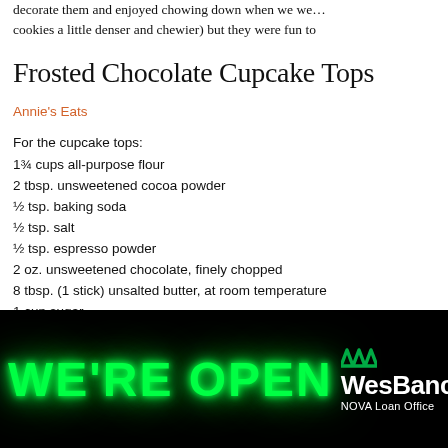decorate them and enjoyed chowing down when we we… cookies a little denser and chewier) but they were fun to
Frosted Chocolate Cupcake Tops
Annie's Eats
For the cupcake tops:
1¾ cups all-purpose flour
2 tbsp. unsweetened cocoa powder
½ tsp. baking soda
½ tsp. salt
½ tsp. espresso powder
2 oz. unsweetened chocolate, finely chopped
8 tbsp. (1 stick) unsalted butter, at room temperature
1 cup sugar
1 large egg
1 tsp. vanilla extract
[Figure (photo): Advertisement banner: green neon 'WE'RE OPEN' sign on black background with WesBanco NOVA Loan Office logo and close button on the right side.]